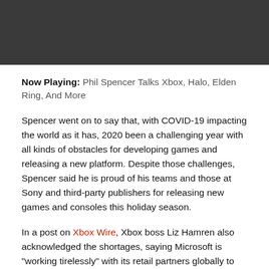[Figure (other): Dark grey header bar at top of page]
Now Playing: Phil Spencer Talks Xbox, Halo, Elden Ring, And More
Spencer went on to say that, with COVID-19 impacting the world as it has, 2020 been a challenging year with all kinds of obstacles for developing games and releasing a new platform. Despite those challenges, Spencer said he is proud of his teams and those at Sony and third-party publishers for releasing new games and consoles this holiday season.
In a post on Xbox Wire, Xbox boss Liz Hamren also acknowledged the shortages, saying Microsoft is "working tirelessly" with its retail partners globally to bring more next-gen Xbox consoles to people soon.
Despite the shortages, Xbox Series X/S launch represented the biggest-ever for Microsoft. The company sold more consoles, in